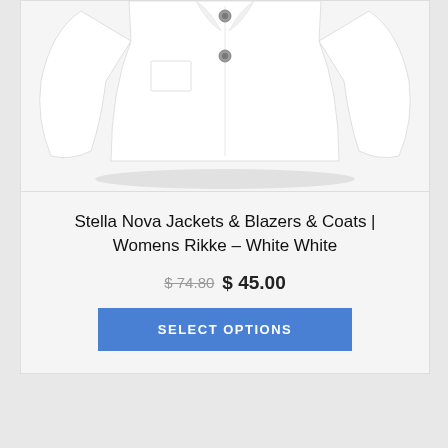[Figure (photo): A white women's jacket/blazer shown on a white background, cropped at the top, with visible buttons down the front.]
Stella Nova Jackets & Blazers & Coats | Womens Rikke – White White
$ 74.80  $ 45.00
SELECT OPTIONS